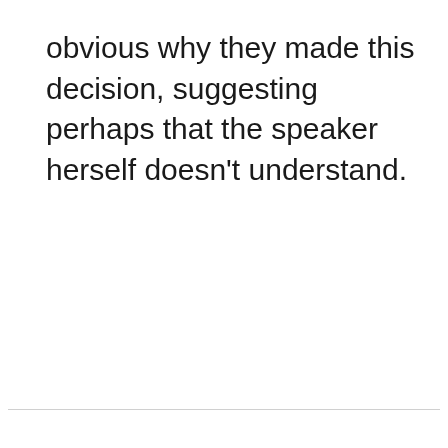obvious why they made this decision, suggesting perhaps that the speaker herself doesn't understand.